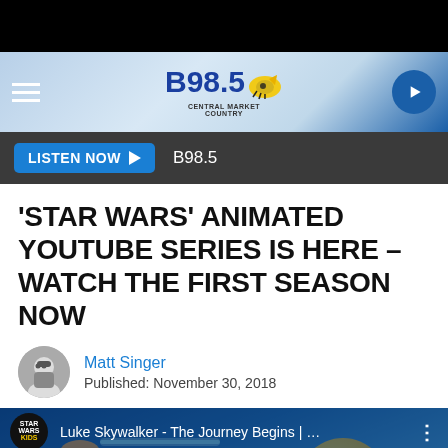[Figure (screenshot): Black top bar]
B98.5 Central Market Country - navigation bar with hamburger menu and play button
LISTEN NOW ▶   B98.5
'STAR WARS' ANIMATED YOUTUBE SERIES IS HERE – WATCH THE FIRST SEASON NOW
Matt Singer
Published: November 30, 2018
[Figure (screenshot): YouTube video thumbnail for 'Luke Skywalker - The Journey Begins | ...' from Star Wars Kids channel, featuring animated Luke Skywalker with a lightsaber on a blue background with a yellow/gold circle.]